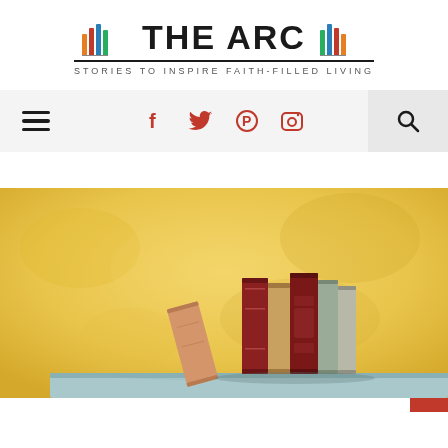[Figure (logo): THE ARC logo with book spine icons on either side, tagline: STORIES TO INSPIRE FAITH-FILLED LIVING]
[Figure (infographic): Navigation bar with hamburger menu on left, social media icons (Facebook, Twitter, Pinterest, Instagram) in center in red/orange, and search icon on right in a grey box]
[Figure (photo): Photo of several vintage books standing upright and one leaning on a light blue wooden shelf against a warm yellow/golden painted wall background]